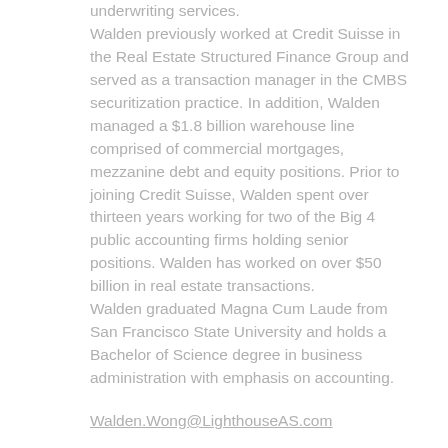underwriting services. Walden previously worked at Credit Suisse in the Real Estate Structured Finance Group and served as a transaction manager in the CMBS securitization practice. In addition, Walden managed a $1.8 billion warehouse line comprised of commercial mortgages, mezzanine debt and equity positions. Prior to joining Credit Suisse, Walden spent over thirteen years working for two of the Big 4 public accounting firms holding senior positions. Walden has worked on over $50 billion in real estate transactions. Walden graduated Magna Cum Laude from San Francisco State University and holds a Bachelor of Science degree in business administration with emphasis on accounting.
Walden.Wong@LighthouseAS.com